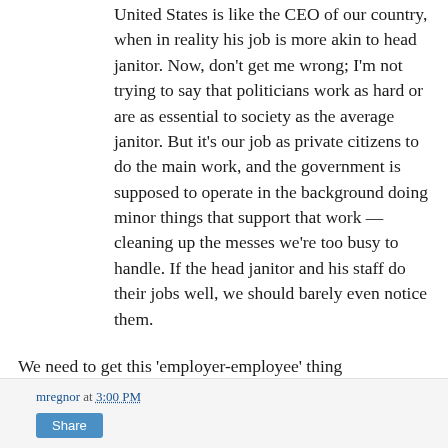United States is like the CEO of our country, when in reality his job is more akin to head janitor. Now, don't get me wrong; I'm not trying to say that politicians work as hard or are as essential to society as the average janitor. But it's our job as private citizens to do the main work, and the government is supposed to operate in the background doing minor things that support that work — cleaning up the messes we're too busy to handle. If the head janitor and his staff do their jobs well, we should barely even notice them.
We need to get this 'employer-employee' thing straightened out. These bastards work for us.
Performance review is tomorrow.
mregnor at 3:00 PM  Share